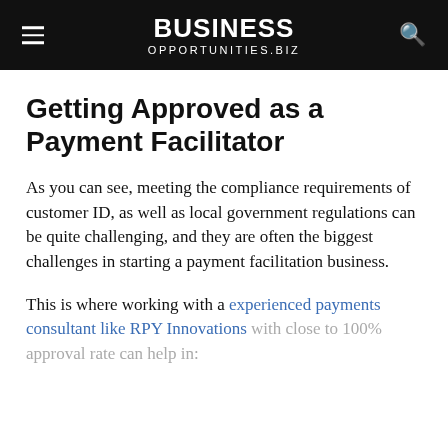BUSINESS OPPORTUNITIES.BIZ
Getting Approved as a Payment Facilitator
As you can see, meeting the compliance requirements of customer ID, as well as local government regulations can be quite challenging, and they are often the biggest challenges in starting a payment facilitation business.
This is where working with a experienced payments consultant like RPY Innovations with close to 100% approval rate can help in: